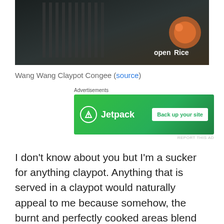[Figure (photo): Dark interior photo of Wang Wang Claypot Congee restaurant with OpenRice watermark in top right corner]
Wang Wang Claypot Congee (source)
[Figure (screenshot): Jetpack advertisement banner with green background showing 'Back up your site' button]
I don't know about you but I'm a sucker for anything claypot. Anything that is served in a claypot would naturally appeal to me because somehow, the burnt and perfectly cooked areas blend really well to produce a very fragrant smell. Likewise, I usually go for their Sliced Fish Porridge with an additional egg which hardens really fast under the boiling congee. The fish slices are a little rougher (Mom says that it's a cheap kind of fish), but still acceptable.